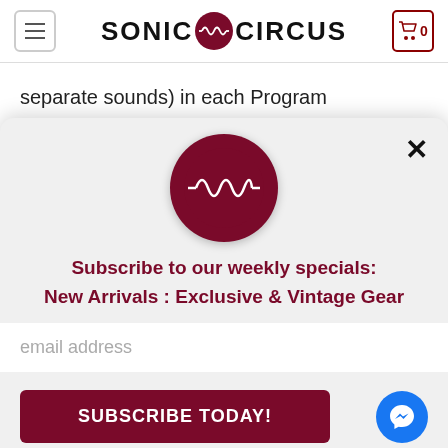[Figure (logo): Sonic Circus logo with hamburger menu and cart icon in header]
separate sounds) in each Program
In/Out:
MIDI In, Out, Thr...
[Figure (logo): Sonic Circus dark red circle logo with waveform, centered in modal popup]
Subscribe to our weekly specials:
New Arrivals : Exclusive & Vintage Gear
email address
SUBSCRIBE TODAY!